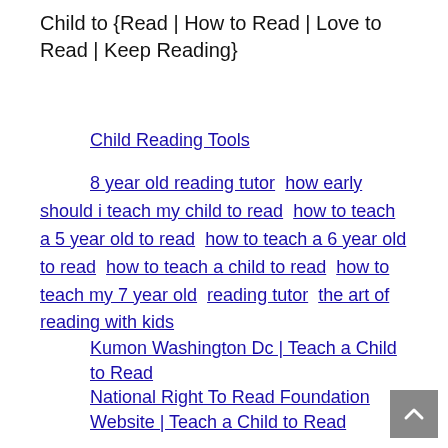Child to {Read | How to Read | Love to Read | Keep Reading}
Child Reading Tools
8 year old reading tutor  how early should i teach my child to read  how to teach a 5 year old to read  how to teach a 6 year old to read  how to teach a child to read  how to teach my 7 year old  reading tutor  the art of reading with kids
Kumon Washington Dc | Teach a Child to Read
National Right To Read Foundation Website | Teach a Child to Read